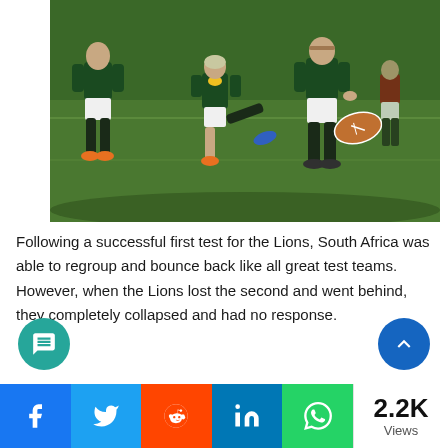[Figure (photo): Rugby match photo showing South African Springboks players during a test match, one player kicking the ball while teammates and opponents are visible on the green pitch]
Following a successful first test for the Lions, South Africa was able to regroup and bounce back like all great test teams. However, when the Lions lost the second and went behind, they completely collapsed and had no response.
2.2K Views — Social share bar with Facebook, Twitter, Reddit, LinkedIn, WhatsApp buttons